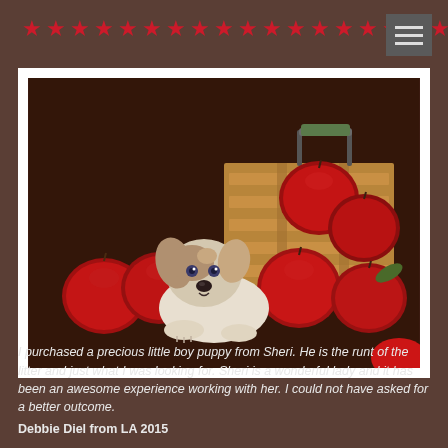★★★★★★★★★★★★★★★★★★★★★★★★★
[Figure (photo): A small Jack Russell Terrier puppy lying in front of a small wooden crate surrounded by red apples on a dark brown fabric background.]
I purchased a precious little boy puppy from Sheri. He is the runt of the litter and just what I was looking for. Sheri is a wonderful lady and it has been an awesome experience working with her. I could not have asked for a better outcome.
Debbie Diel from LA 2015